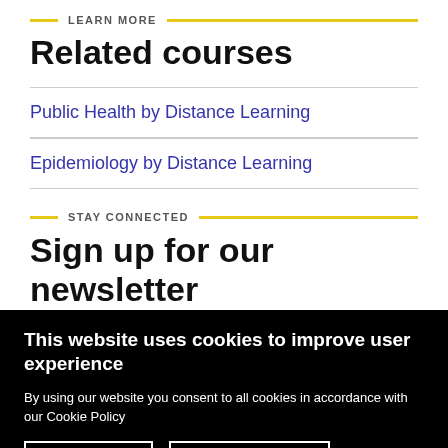LEARN MORE
Related courses
Public Health by Distance Learning
Epidemiology by Distance Learning
STAY CONNECTED
Sign up for our newsletter
This website uses cookies to improve user experience
By using our website you consent to all cookies in accordance with our Cookie Policy
I agree
Read more